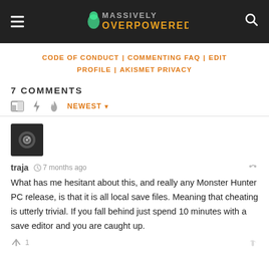Massively Overpowered
CODE OF CONDUCT | COMMENTING FAQ | EDIT PROFILE | AKISMET PRIVACY
7 COMMENTS
NEWEST
[Figure (photo): User avatar for traja, dark circular object on black background]
traja · 7 months ago
What has me hesitant about this, and really any Monster Hunter PC release, is that it is all local save files. Meaning that cheating is utterly trivial. If you fall behind just spend 10 minutes with a save editor and you are caught up.